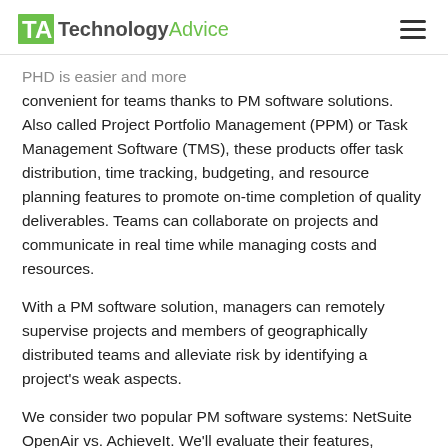TechnologyAdvice
PHD is easier and more convenient for teams thanks to PM software solutions. Also called Project Portfolio Management (PPM) or Task Management Software (TMS), these products offer task distribution, time tracking, budgeting, and resource planning features to promote on-time completion of quality deliverables. Teams can collaborate on projects and communicate in real time while managing costs and resources.
With a PM software solution, managers can remotely supervise projects and members of geographically distributed teams and alleviate risk by identifying a project's weak aspects.
We consider two popular PM software systems: NetSuite OpenAir vs. AchieveIt. We'll evaluate their features, integrations, and pricing models to determine the software that meets your business needs. Our Technology Advisors can give you five